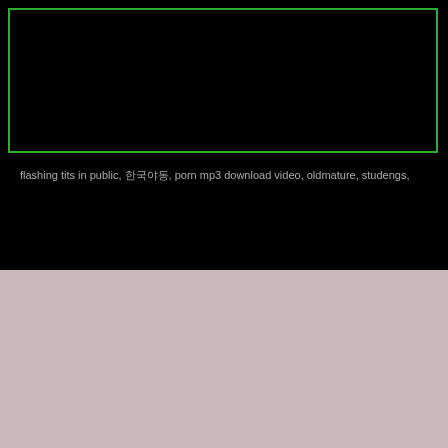[Figure (screenshot): Black video player box with green border at top of page]
flashing tits in public, 한국야동, porn mp3 download video, oldmature, studengs,
[Figure (photo): Thumbnail of dark-haired woman portrait outdoors with label 'Porno Tube']
[Figure (photo): Thumbnail of close-up body shot with label 'Xhamster Porn']